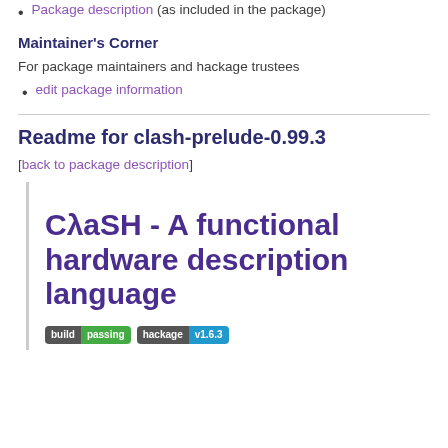Package description (as included in the package)
Maintainer's Corner
For package maintainers and hackage trustees
edit package information
Readme for clash-prelude-0.99.3
[back to package description]
CλaSH - A functional hardware description language
[Figure (other): Build passing badge and hackage v1.6.3 badge]